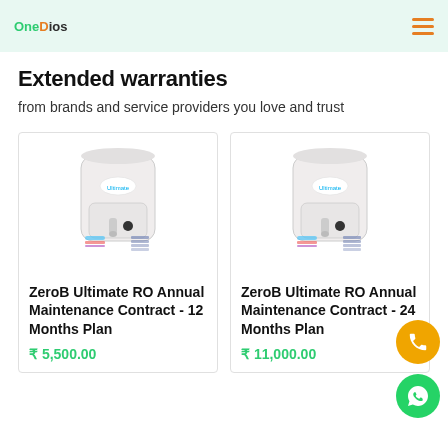OneDios [logo] [hamburger menu]
Extended warranties
from brands and service providers you love and trust
[Figure (photo): ZeroB Ultimate RO water purifier product image - left card]
ZeroB Ultimate RO Annual Maintenance Contract - 12 Months Plan
₹ 5,500.00
[Figure (photo): ZeroB Ultimate RO water purifier product image - right card]
ZeroB Ultimate RO Annual Maintenance Contract - 24 Months Plan
₹ 11,000.00